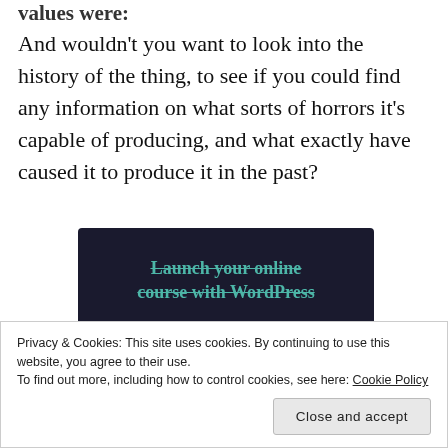values were:
And wouldn't you want to look into the history of the thing, to see if you could find any information on what sorts of horrors it's capable of producing, and what exactly have caused it to produce it in the past?
[Figure (infographic): Dark navy advertisement banner with teal text reading 'Launch your online course with WordPress' (partially visible at top) and a teal 'Learn More' button]
Privacy & Cookies: This site uses cookies. By continuing to use this website, you agree to their use.
To find out more, including how to control cookies, see here: Cookie Policy
Close and accept